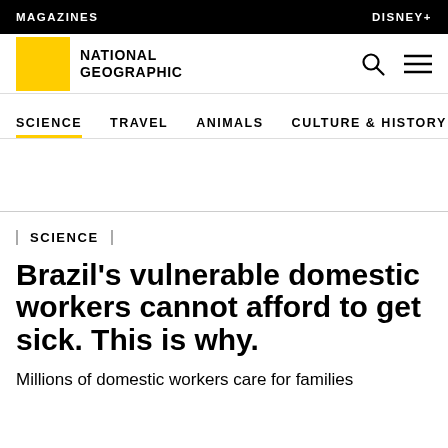MAGAZINES | DISNEY+
[Figure (logo): National Geographic logo: yellow square box with NG text beside it reading NATIONAL GEOGRAPHIC]
SCIENCE   TRAVEL   ANIMALS   CULTURE & HISTORY
SCIENCE
Brazil’s vulnerable domestic workers cannot afford to get sick. This is why.
Millions of domestic workers care for families